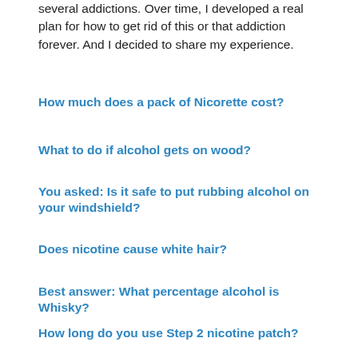several addictions. Over time, I developed a real plan for how to get rid of this or that addiction forever. And I decided to share my experience.
How much does a pack of Nicorette cost?
What to do if alcohol gets on wood?
You asked: Is it safe to put rubbing alcohol on your windshield?
Does nicotine cause white hair?
Best answer: What percentage alcohol is Whisky?
How long do you use Step 2 nicotine patch?
Is non alcoholic champagne really non alcoholic?